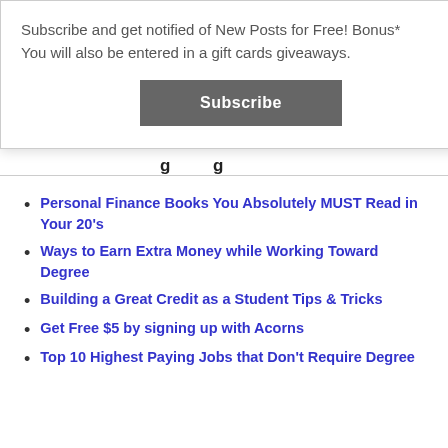Subscribe and get notified of New Posts for Free! Bonus* You will also be entered in a gift cards giveaways.
Subscribe
Personal Finance Books You Absolutely MUST Read in Your 20's
Ways to Earn Extra Money while Working Toward Degree
Building a Great Credit as a Student Tips & Tricks
Get Free $5 by signing up with Acorns
Top 10 Highest Paying Jobs that Don't Require Degree